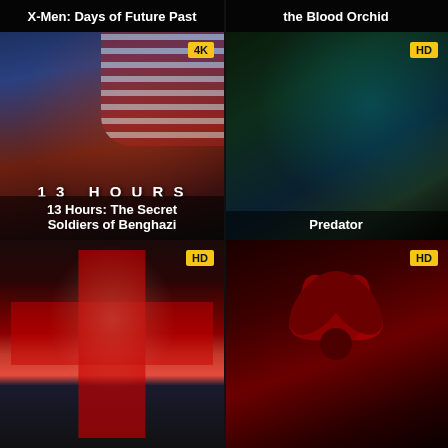X-Men: Days of Future Past
the Blood Orchid
[Figure (photo): Movie poster for '13 Hours: The Secret Soldiers of Benghazi' showing a bearded soldier holding a weapon against an American flag background, with '4K' badge and title text overlay]
[Figure (photo): Movie poster for 'Predator' showing a muscular man holding a gun with a dark jungle and alien creature in the background, with 'HD' badge and title text overlay]
[Figure (photo): Movie poster for an unnamed film showing a man's face painted with a red cross, with 'HD' badge]
[Figure (photo): Movie poster showing a red flower/hibiscus on a dark background, with 'HD' badge]